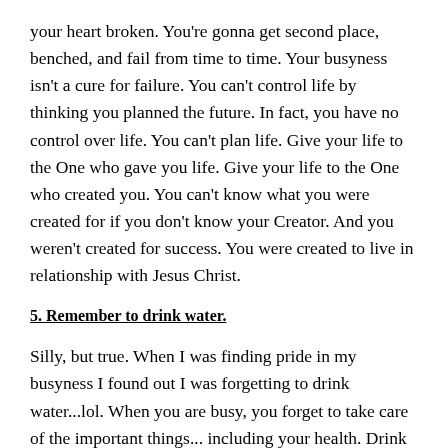your heart broken. You're gonna get second place, benched, and fail from time to time. Your busyness isn't a cure for failure. You can't control life by thinking you planned the future. In fact, you have no control over life. You can't plan life. Give your life to the One who gave you life. Give your life to the One who created you. You can't know what you were created for if you don't know your Creator. And you weren't created for success. You were created to live in relationship with Jesus Christ.
5. Remember to drink water.
Silly, but true. When I was finding pride in my busyness I found out I was forgetting to drink water...lol. When you are busy, you forget to take care of the important things... including your health. Drink water my friend. (coffee is not hydration, this I know)